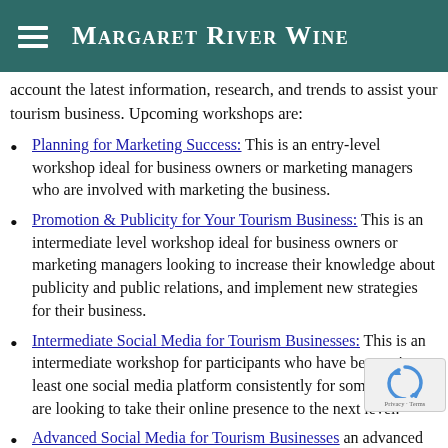Margaret River Wine
account the latest information, research, and trends to assist your tourism business. Upcoming workshops are:
Planning for Marketing Success: This is an entry-level workshop ideal for business owners or marketing managers who are involved with marketing the business.
Promotion & Publicity for Your Tourism Business: This is an intermediate level workshop ideal for business owners or marketing managers looking to increase their knowledge about publicity and public relations, and implement new strategies for their business.
Intermediate Social Media for Tourism Businesses: This is an intermediate workshop for participants who have been using at least one social media platform consistently for some time, and are looking to take their online presence to the next level.
Advanced Social Media for Tourism Businesses: an advanced workshop for participants who have been...